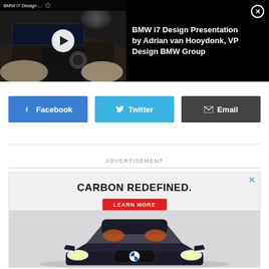[Figure (screenshot): BMW i7 Design Presentation video thumbnail with play button, showing car interior, and title overlay 'BMW i7 Design Presentation by Adrian van Hooydonk, VP Design BMW Group' on black background]
[Figure (infographic): Three social share buttons: Facebook (blue), Twitter (blue), Email (dark gray)]
ADVERTISEMENT
[Figure (photo): Advertisement showing 'CARBON REDEFINED.' headline with 'LEARN MORE' red button and a dark BMW car viewed from the front]